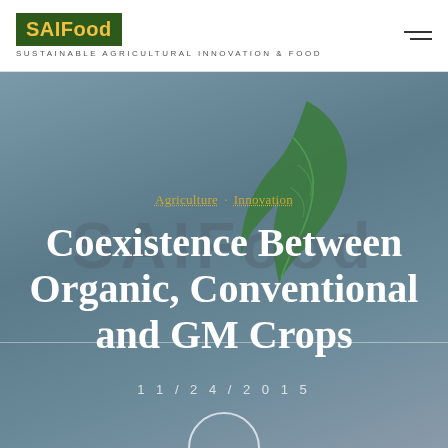SAIFood — SUSTAINABLE AGRICULTURAL INNOVATION & FOOD
[Figure (illustration): Hero banner with blue-grey gradient background, semi-transparent SAIFood watermark text, and a green leaf illustration overlay]
Agriculture · Innovation
Coexistence Between Organic, Conventional and GM Crops
11/24/2015
[Figure (photo): Circular avatar placeholder for author Stuart Smyth]
Stuart Smyth